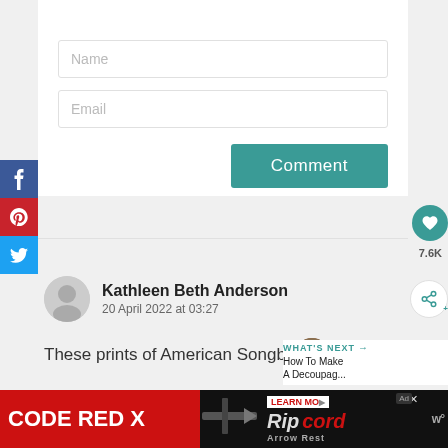[Figure (screenshot): Name input field placeholder]
[Figure (screenshot): Email input field placeholder]
[Figure (screenshot): Comment submit button (teal)]
[Figure (screenshot): Social media sidebar with Facebook, Pinterest, Twitter buttons]
7.6K
Kathleen Beth Anderson
20 April 2022 at 03:27
These prints of American Songbirds are
WHAT'S NEXT → How To Make A Decoupag...
[Figure (screenshot): Advertisement banner: CODE RED X and Ripcord Arrow Rest]